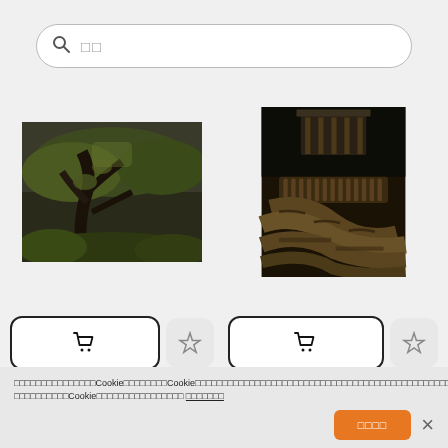[Figure (screenshot): Search bar with magnifying glass icon and two placeholder characters]
[Figure (photo): Nature photograph: twisted mossy trees and green foliage in a forest]
[Figure (photo): Sepia-toned architectural photograph: ornate stone balustrade and curved stonework, possibly a church choir tribune]
Staten Island
TRIBUNA DEL CORO.
クッキーに関するポリシーCookieに関するポリシーCookieについて詳しく知りたい場合は、こちらをクリックしてください。詳細についてはCookieポリシーをご覧ください。 クッキー設定
承認する